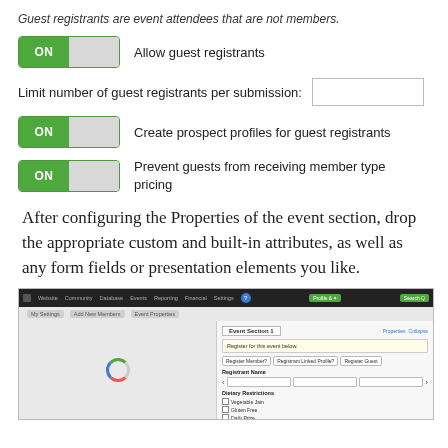Guest registrants are event attendees that are not members.
[Figure (screenshot): Toggle switch set to ON for 'Allow guest registrants']
Allow guest registrants
Limit number of guest registrants per submission:
[Figure (screenshot): Toggle switch set to ON for 'Create prospect profiles for guest registrants']
Create prospect profiles for guest registrants
[Figure (screenshot): Toggle switch set to ON for 'Prevent guests from receiving member type pricing']
Prevent guests from receiving member type pricing
After configuring the Properties of the event section, drop the appropriate custom and built-in attributes, as well as any form fields or presentation elements you like.
[Figure (screenshot): Screenshot of a web application interface showing an event registration form builder with fields for Registrant Name and Dietary Restrictions including options for Vegetable Jain, Gluten Free, and Daily Prize.]